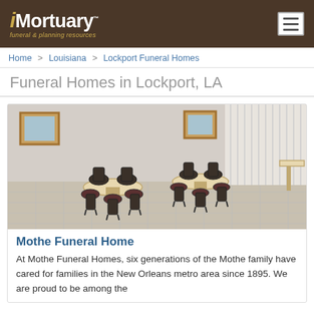iMortuary™ funeral & planning resources
Home > Louisiana > Lockport Funeral Homes
Funeral Homes in Lockport, LA
[Figure (photo): Interior room of a funeral home showing round tables with dark wood chairs on a tiled floor, with vertical blinds on the windows and framed artwork on the walls.]
Mothe Funeral Home
At Mothe Funeral Homes, six generations of the Mothe family have cared for families in the New Orleans metro area since 1895. We are proud to be among the